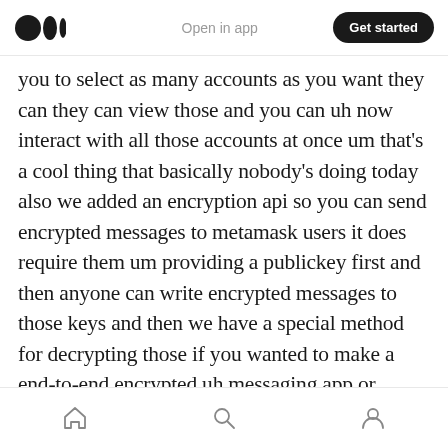Medium logo | Open in app | Get started
you to select as many accounts as you want they can they can view those and you can uh now interact with all those accounts at once um that's a cool thing that basically nobody's doing today also we added an encryption api so you can send encrypted messages to metamask users it does require them um providing a publickey first and then anyone can write encrypted messages to those keys and then we have a special method for decrypting those if you wanted to make a end-to-end encrypted uh messaging app or anything that incorporates absolutely secret
Home | Search | Profile